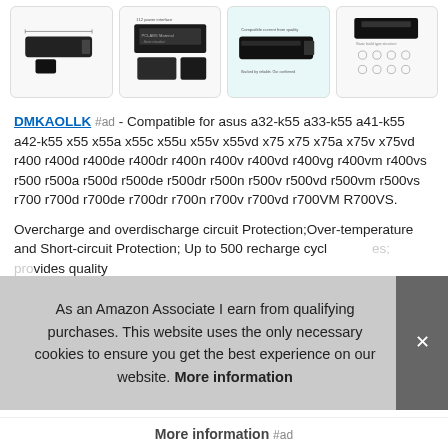[Figure (photo): Row of four product images showing laptop battery from different angles]
DMKAOLLK #ad - Compatible for asus a32-k55 a33-k55 a41-k55 a42-k55 x55 x55a x55c x55u x55v x55vd x75 x75 x75a x75v x75vd r400 r400d r400de r400dr r400n r400v r400vd r400vg r400vm r400vs r500 r500a r500d r500de r500dr r500n r500v r500vd r500vm r500vs r700 r700d r700de r700dr r700n r700v r700vd r700VM R700VS.
Overcharge and overdischarge circuit Protection;Over-temperature and Short-circuit Protection; Up to 500 recharge cycles; provides quality
As an Amazon Associate I earn from qualifying purchases. This website uses the only necessary cookies to ensure you get the best experience on our website. More information
More information #ad